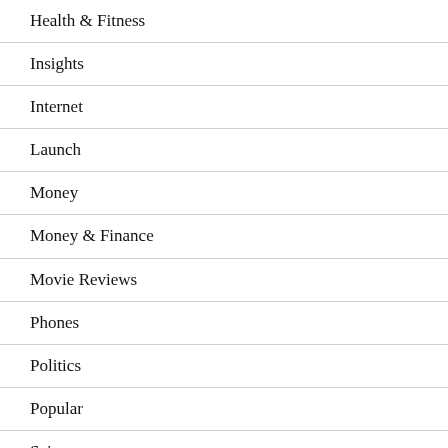Health & Fitness
Insights
Internet
Launch
Money
Money & Finance
Movie Reviews
Phones
Politics
Popular
Science